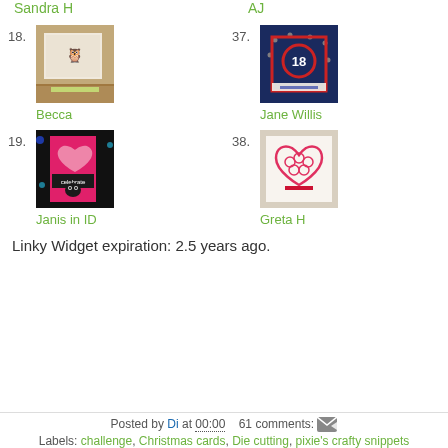Sandra H
AJ
18. Becca
37. Jane Willis
19. Janis in ID
38. Greta H
Linky Widget expiration: 2.5 years ago.
Posted by Di at 00:00   61 comments:
Labels: challenge, Christmas cards, Die cutting, pixie's crafty snippets